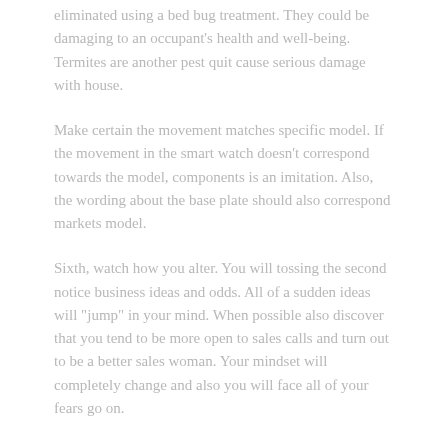eliminated using a bed bug treatment. They could be damaging to an occupant's health and well-being. Termites are another pest quit cause serious damage with house.
Make certain the movement matches specific model. If the movement in the smart watch doesn't correspond towards the model, components is an imitation. Also, the wording about the base plate should also correspond markets model.
Sixth, watch how you alter. You will tossing the second notice business ideas and odds. All of a sudden ideas will "jump" in your mind. When possible also discover that you tend to be more open to sales calls and turn out to be a better sales woman. Your mindset will completely change and also you will face all of your fears go on.
Check out the depth rating – The common misconception with watches typically water resistance equates to full water protection. Lots being water-repellent alone will not be assurance that the watch hold up towards the rigors of undersea